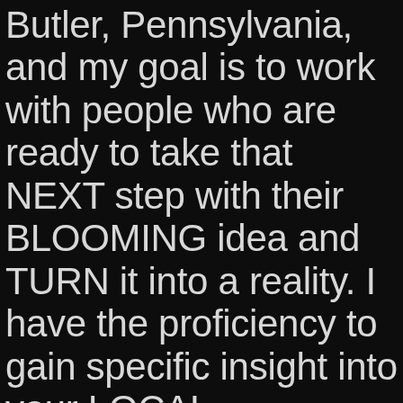Butler, Pennsylvania, and my goal is to work with people who are ready to take that NEXT step with their BLOOMING idea and TURN it into a reality. I have the proficiency to gain specific insight into your LOCAL Competitors, Customers, Supporters, and Fans, with the expertise to engage in dynamic relationship-building activities to get anything noticed using the most current advertising and